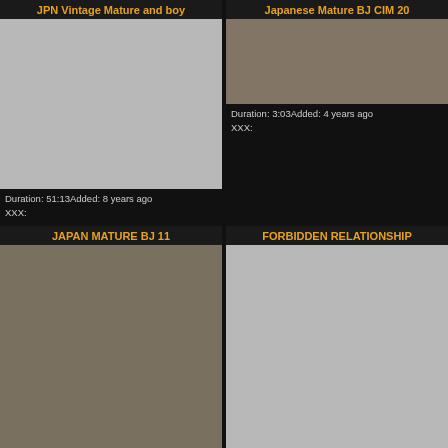JPN Vintage Mature and boy
[Figure (photo): Grey placeholder thumbnail for JPN Vintage Mature and boy video]
Duration: 51:13Added: 8 years ago
XXX:
Japanese Mature BJ CIM 20
[Figure (photo): Thumbnail showing Japanese mature woman]
Duration: 3:03Added: 4 years ago
XXX:
JAPAN MATURE BJ 11
[Figure (photo): Thumbnail for Japan Mature BJ 11 video]
FORBIDDEN RELATIONSHIP
[Figure (photo): Grey placeholder thumbnail for Forbidden Relationship video]